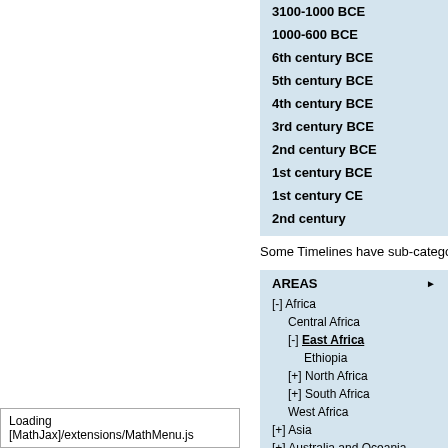3100-1000 BCE
1000-600 BCE
6th century BCE
5th century BCE
4th century BCE
3rd century BCE
2nd century BCE
1st century BCE
1st century CE
2nd century
Some Timelines have sub-categories
AREAS
[-] Africa
Central Africa
[-] East Africa
Ethiopia
[+] North Africa
[+] South Africa
West Africa
[+] Asia
[+] Australia and Oceania
[+] Europe
Loading [MathJax]/extensions/MathMenu.js